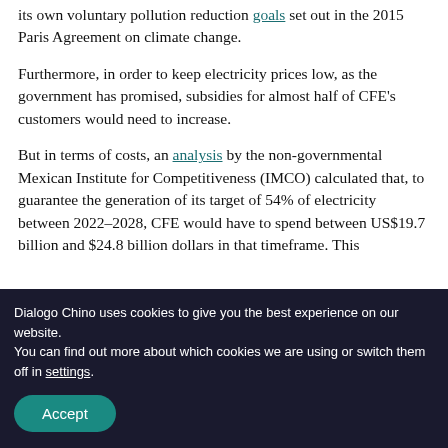its own voluntary pollution reduction goals set out in the 2015 Paris Agreement on climate change.
Furthermore, in order to keep electricity prices low, as the government has promised, subsidies for almost half of CFE's customers would need to increase.
But in terms of costs, an analysis by the non-governmental Mexican Institute for Competitiveness (IMCO) calculated that, to guarantee the generation of its target of 54% of electricity between 2022–2028, CFE would have to spend between US$19.7 billion and $24.8 billion dollars in that timeframe. This
Dialogo Chino uses cookies to give you the best experience on our website.
You can find out more about which cookies we are using or switch them off in settings.
Accept